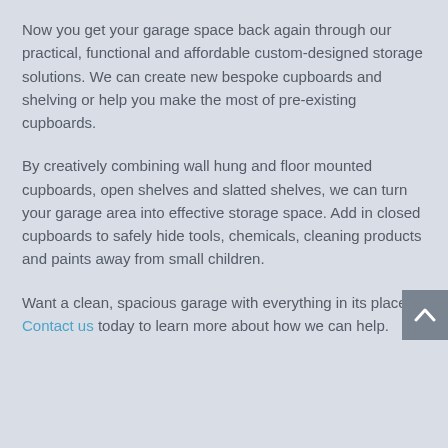Now you get your garage space back again through our practical, functional and affordable custom-designed storage solutions. We can create new bespoke cupboards and shelving or help you make the most of pre-existing cupboards.
By creatively combining wall hung and floor mounted cupboards, open shelves and slatted shelves, we can turn your garage area into effective storage space. Add in closed cupboards to safely hide tools, chemicals, cleaning products and paints away from small children.
Want a clean, spacious garage with everything in its place? Contact us today to learn more about how we can help.